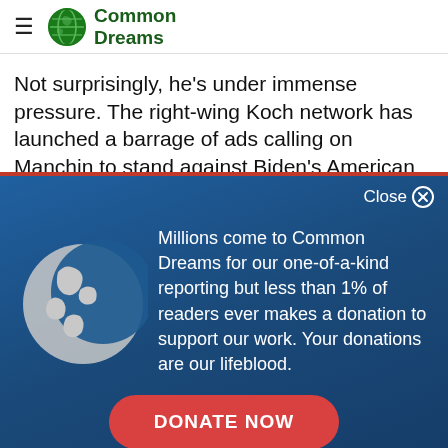Common Dreams
Not surprisingly, he's under immense pressure. The right-wing Koch network has launched a barrage of ads calling on Manchin to stand against Biden's American Jobs Plan and the For the People Voting
Close
Millions come to Common Dreams for our one-of-a-kind reporting but less than 1% of readers ever makes a donation to support our work. Your donations are our lifeblood.
DONATE NOW